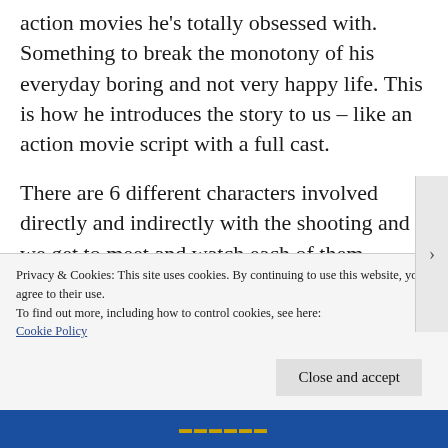action movies he's totally obsessed with. Something to break the monotony of his everyday boring and not very happy life. This is how he introduces the story to us – like an action movie script with a full cast.
There are 6 different characters involved directly and indirectly with the shooting and we get to meet and watch each of them individually as they act out their part in the events that led up to the
Privacy & Cookies: This site uses cookies. By continuing to use this website, you agree to their use.
To find out more, including how to control cookies, see here: Cookie Policy
Close and accept